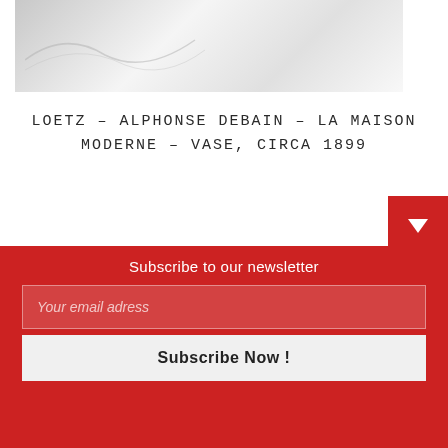[Figure (photo): Partial view of a white/light grey vase with smooth curved surface, cropped at the top of the page]
LOETZ – ALPHONSE DEBAIN – LA MAISON MODERNE – VASE, CIRCA 1899
Subscribe to our newsletter
Your email adress
Subscribe Now !